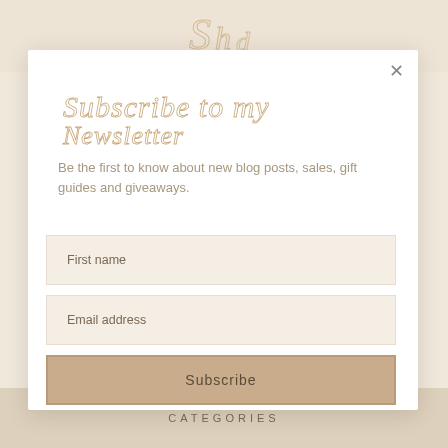[Figure (logo): Cursive script logo at top of page in gold/tan color]
Subscribe to my Newsletter
Be the first to know about new blog posts, sales, gift guides and giveaways.
First name
Email address
Subscribe
CATEGORIES